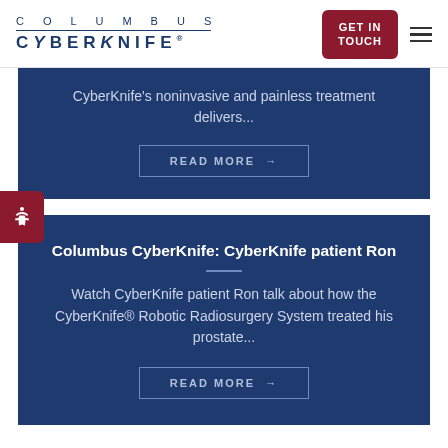Columbus CyberKnife | GET IN TOUCH
CyberKnife's noninvasive and painless treatment delivers...
READ MORE →
Columbus CyberKnife: CyberKnife patient Ron
Watch CyberKnife patient Ron talk about how the CyberKnife® Robotic Radiosurgery System treated his prostate...
READ MORE →